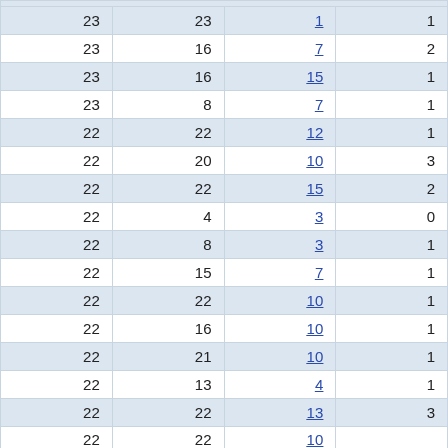| 23 | 23 | 1 | 1 |
| 23 | 16 | 7 | 2 |
| 23 | 16 | 15 | 1 |
| 23 | 8 | 7 | 1 |
| 22 | 22 | 12 | 1 |
| 22 | 20 | 10 | 3 |
| 22 | 22 | 15 | 2 |
| 22 | 4 | 3 | 0 |
| 22 | 8 | 3 | 1 |
| 22 | 15 | 7 | 1 |
| 22 | 22 | 10 | 1 |
| 22 | 16 | 10 | 1 |
| 22 | 21 | 10 | 1 |
| 22 | 13 | 4 | 1 |
| 22 | 22 | 13 | 3 |
| 22 | 22 | 10 |  |